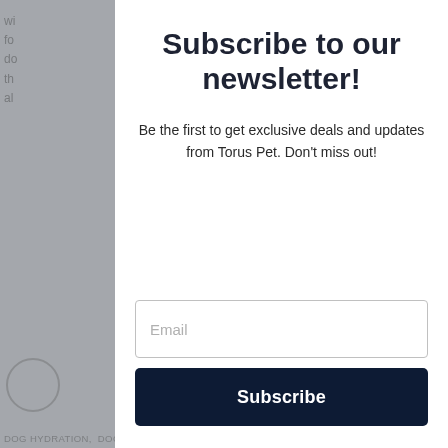wi fo de th al
It ti
AU PO DI
DOG HYDRATION, DOG MOM, FILTERED WATER,
Subscribe to our newsletter!
Be the first to get exclusive deals and updates from Torus Pet. Don't miss out!
[Figure (screenshot): Email input field with placeholder text 'Email']
[Figure (screenshot): Subscribe button with dark navy background and white bold text 'Subscribe']